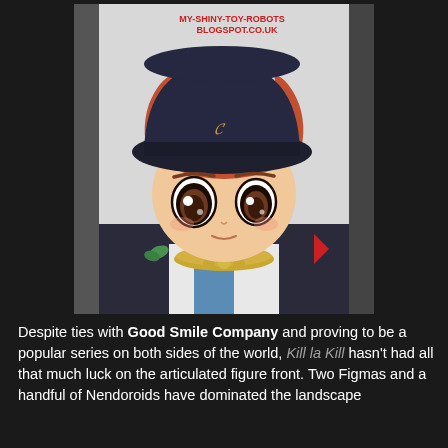[Figure (photo): Close-up photo of a chibi-style anime figurine (from Kill la Kill) wearing a dark navy captain's hat with a gold insignia, orange-brown hair, large expressive brown eyes, and a gold collar/necklace. The figure has a white shirt and dark coat. A watermark reads 'MY-SHINY-TOY-ROBOTS BLOGSPOT.CO.UK' in red at the top right of the photo. Background is light gray/white.]
Despite ties with Good Smile Company and proving to be a popular series on both sides of the world, Kill la Kill hasn't had all that much luck on the articulated figure front. Two Figmas and a handful of Nendoroids have dominated the landscape